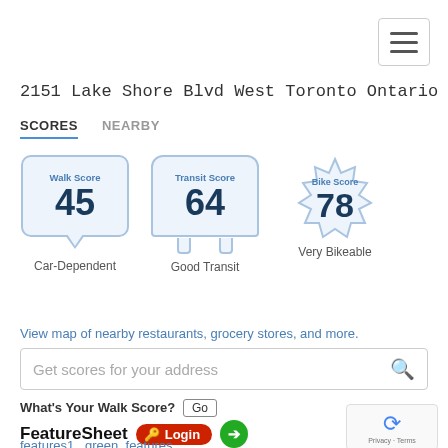2151 Lake Shore Blvd West Toronto Ontario M8V4E9 ...
SCORES    NEARBY
[Figure (infographic): Three score badges: Walk Score 45 (Car-Dependent), Transit Score 64 (Good Transit), Bike Score 78 (Very Bikeable)]
View map of nearby restaurants, grocery stores, and more.
Get scores for your address
What's Your Walk Score? Go
FeatureSheet
features1   green_features